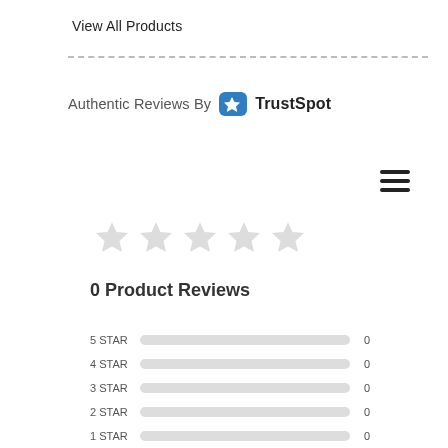View All Products
[Figure (infographic): TrustSpot logo badge with star icon, 'Authentic Reviews By TrustSpot' branding]
[Figure (infographic): Hamburger menu icon (three horizontal lines)]
[Figure (infographic): Five empty/outline star rating icons]
0 Product Reviews
| Rating | Bar | Count |
| --- | --- | --- |
| 5 STAR |  | 0 |
| 4 STAR |  | 0 |
| 3 STAR |  | 0 |
| 2 STAR |  | 0 |
| 1 STAR |  | 0 |